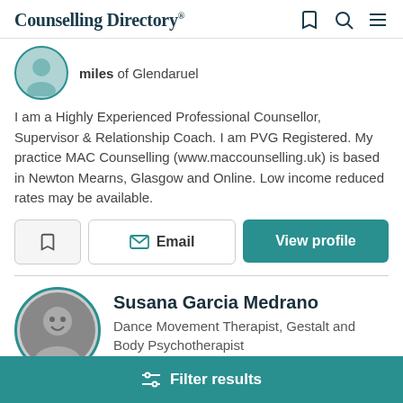Counselling Directory
miles of Glendaruel
I am a Highly Experienced Professional Counsellor, Supervisor & Relationship Coach. I am PVG Registered. My practice MAC Counselling (www.maccounselling.uk) is based in Newton Mearns, Glasgow and Online. Low income reduced rates may be available.
Email
View profile
Susana Garcia Medrano
Dance Movement Therapist, Gestalt and Body Psychotherapist
Filter results